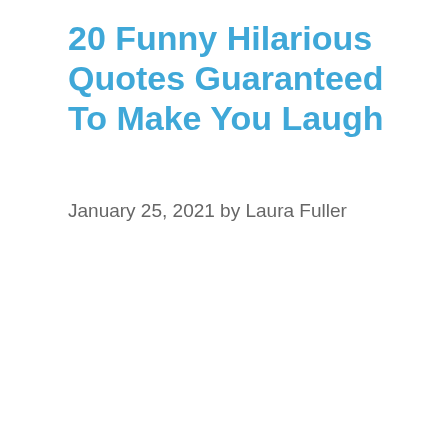20 Funny Hilarious Quotes Guaranteed To Make You Laugh
January 25, 2021 by Laura Fuller